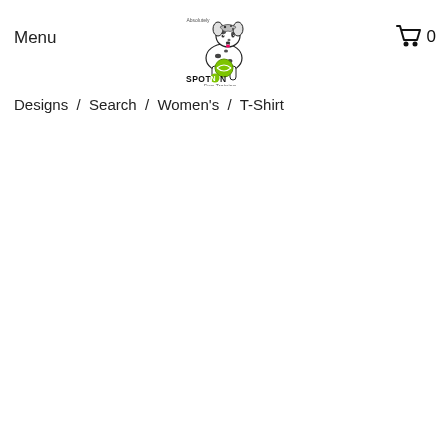Menu
[Figure (logo): Absolutely Spot On Dog Training logo — dalmatian dog with spotted bandana holding a green tennis ball, with text 'Absolutely SPOT ON Dog Training']
[Figure (other): Shopping cart icon with count 0]
Designs / Search / Women's / T-Shirt